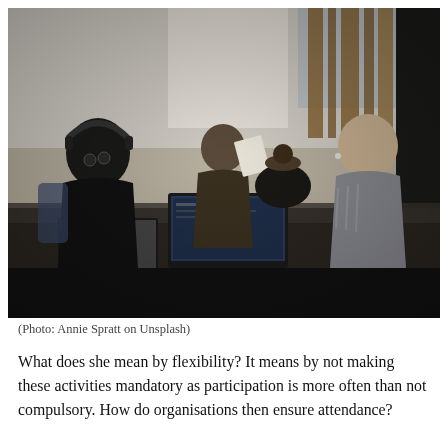[Figure (photo): People sitting around a table working on laptops in a modern workspace or cafe setting. One man on the left is wearing headphones and glasses, another person in the middle is holding a paper, a woman has her back to the camera, and a man on the right is engaged in conversation. Laptops and a small plant are on the table.]
(Photo: Annie Spratt on Unsplash)
What does she mean by flexibility? It means by not making these activities mandatory as participation is more often than not compulsory. How do organisations then ensure attendance?